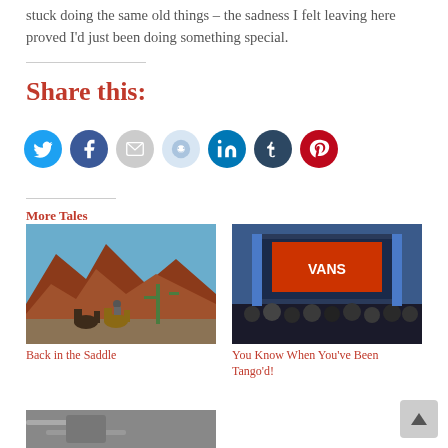stuck doing the same old things – the sadness I felt leaving here proved I'd just been doing something special.
Share this:
[Figure (infographic): Social media share icons: Twitter (blue), Facebook (dark blue), Email (grey), Reddit (light blue), LinkedIn (blue), Tumblr (dark navy), Pinterest (red)]
More Tales
[Figure (photo): Desert landscape with horses and rock formations under blue sky]
Back in the Saddle
[Figure (photo): Concert stage with crowd in foreground and illuminated stage backdrop]
You Know When You've Been Tango'd!
[Figure (photo): Partial view of a third article thumbnail at bottom]